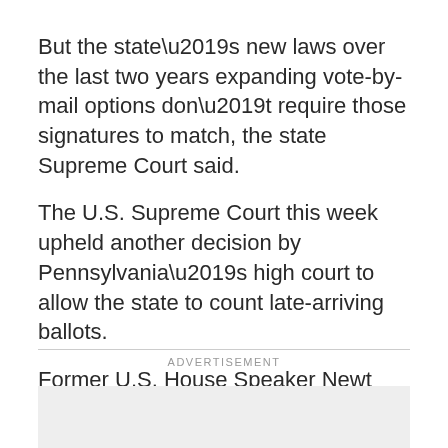But the state’s new laws over the last two years expanding vote-by-mail options don’t require those signatures to match, the state Supreme Court said.
The U.S. Supreme Court this week upheld another decision by Pennsylvania’s high court to allow the state to count late-arriving ballots.
Former U.S. House Speaker Newt Gingrich took to Twitter Friday to complain about the state of affairs with Pennsylvania voting.
ADVERTISEMENT